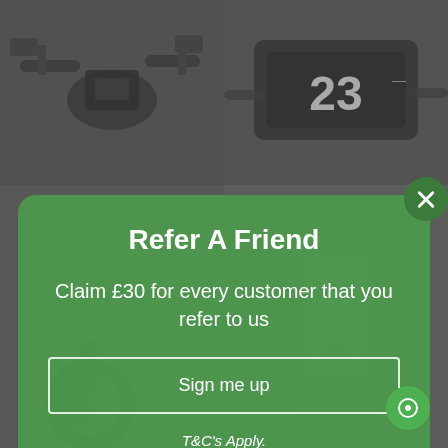[Figure (photo): Background grid of motorcycle/e-scooter images on grey background: top-left shows motorcycle handlebars close-up, top-right shows a digital dashboard display with number 23, bottom-left shows an e-scooter lower body/wheel, bottom-right shows a charging station or similar cylindrical product.]
Refer A Friend
Claim £30 for every customer that you refer to us
Sign me up
T&C's Apply.